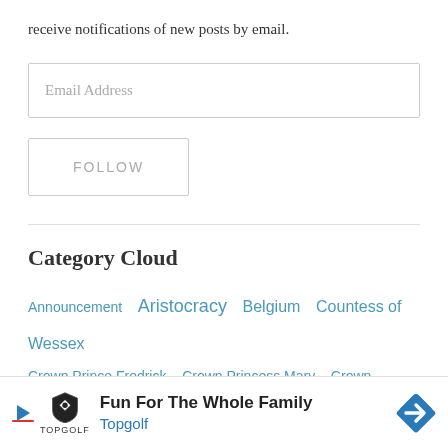receive notifications of new posts by email.
Email Address
FOLLOW
Category Cloud
Announcement   Aristocracy   Belgium   Countess of Wessex   Crown Prince Fredrick   Crown Princess Mary   Crown Princess Mette Marit   Crown Princess Victoria   Denmark   Duchess of
[Figure (other): Advertisement banner for Topgolf: 'Fun For The Whole Family' with Topgolf logo shield, play button icon, and blue diamond arrow icon.]